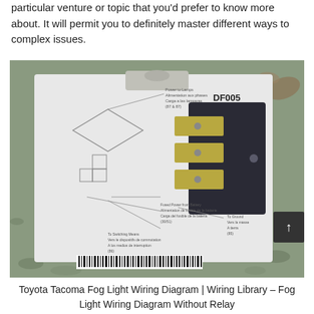particular venture or topic that you'd prefer to know more about. It will permit you to definitely master different ways to complex issues.
[Figure (photo): Photo of a relay component (DF005) shown against its packaging card. The card shows a wiring diagram with labels: Power to Lamps / Alimentation aux phases / Carga a las lamparas (87 & 87), Fused Power from Battery / Alimentation de fusible de la batterie / Carga del fusible de la bateria (30/51), To Ground / Vers la masse / A tierra (85), To Switching Means / Vers le dispositifs de commutation / A los medios de interruption (86). Product code DF005 visible at top right of card. Barcode at bottom of card.]
Toyota Tacoma Fog Light Wiring Diagram | Wiring Library – Fog Light Wiring Diagram Without Relay